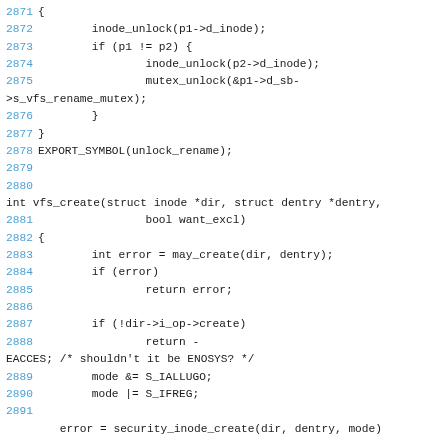Source code listing lines 2871-2891, C kernel code showing unlock_rename and vfs_create functions